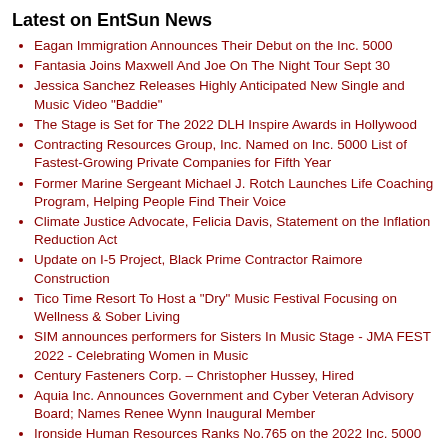Latest on EntSun News
Eagan Immigration Announces Their Debut on the Inc. 5000
Fantasia Joins Maxwell And Joe On The Night Tour Sept 30
Jessica Sanchez Releases Highly Anticipated New Single and Music Video "Baddie"
The Stage is Set for The 2022 DLH Inspire Awards in Hollywood
Contracting Resources Group, Inc. Named on Inc. 5000 List of Fastest-Growing Private Companies for Fifth Year
Former Marine Sergeant Michael J. Rotch Launches Life Coaching Program, Helping People Find Their Voice
Climate Justice Advocate, Felicia Davis, Statement on the Inflation Reduction Act
Update on I-5 Project, Black Prime Contractor Raimore Construction
Tico Time Resort To Host a "Dry" Music Festival Focusing on Wellness & Sober Living
SIM announces performers for Sisters In Music Stage - JMA FEST 2022 - Celebrating Women in Music
Century Fasteners Corp. – Christopher Hussey, Hired
Aquia Inc. Announces Government and Cyber Veteran Advisory Board; Names Renee Wynn Inaugural Member
Ironside Human Resources Ranks No.765 on the 2022 Inc. 5000 Annual List
CareWell Health Medical Center Expands Leadership Team, Adds New COO